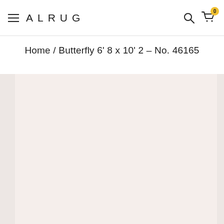ALRUG
Home / Butterfly 6' 8 x 10' 2 – No. 46165
[Figure (photo): Product image area showing a light pinkish-cream background representing a rug product page for Butterfly 6' 8 x 10' 2 - No. 46165]